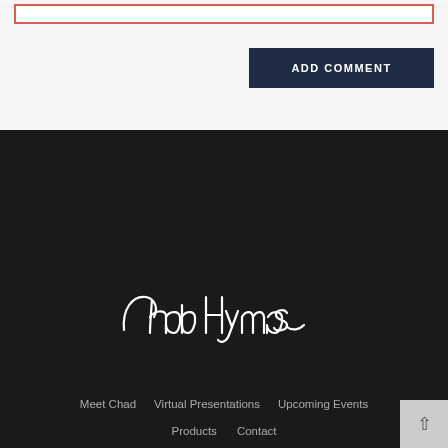[Figure (other): Input text field with red/orange border at top of page]
ADD COMMENT
[Figure (illustration): White cursive signature of Chad Hymas on dark background]
Meet Chad
Virtual Presentations
Upcoming Events
Products
Contact
435-843-5707 | info@chadhymas.com